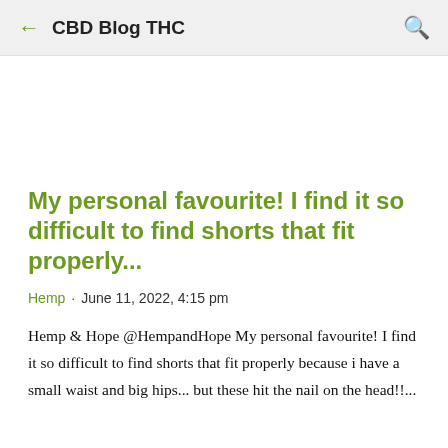CBD Blog THC
My personal favourite! I find it so difficult to find shorts that fit properly...
Hemp · June 11, 2022, 4:15 pm
Hemp & Hope @HempandHope My personal favourite! I find it so difficult to find shorts that fit properly because i have a small waist and big hips... but these hit the nail on the head!!...